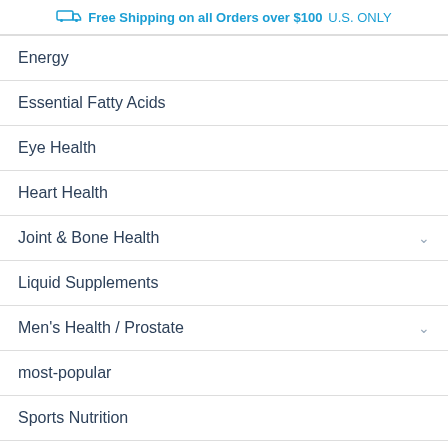Free Shipping on all Orders over $100 U.S. ONLY
Energy
Essential Fatty Acids
Eye Health
Heart Health
Joint & Bone Health
Liquid Supplements
Men's Health / Prostate
most-popular
Sports Nutrition
Stress / Relaxation
Uncategorized